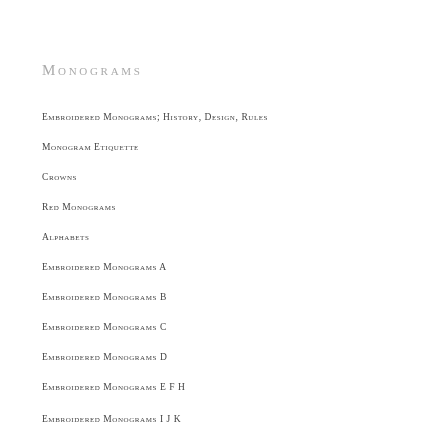Monograms
Embroidered Monograms; History, Design, Rules
Monogram Etiquette
Crowns
Red Monograms
Alphabets
Embroidered Monograms A
Embroidered Monograms B
Embroidered Monograms C
Embroidered Monograms D
Embroidered Monograms E F H
Embroidered Monograms I J K